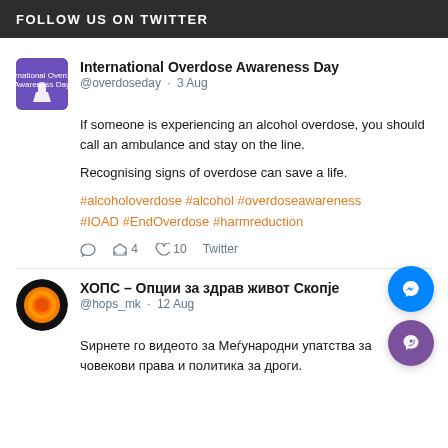FOLLOW US ON TWITTER
International Overdose Awareness Day
@overdoseday · 3 Aug
If someone is experiencing an alcohol overdose, you should call an ambulance and stay on the line.
Recognising signs of overdose can save a life.
#alcoholoverdose #alcohol #overdoseawareness #IOAD #EndOverdose #harmreduction
◯  ↺ 4  ♡ 10  Twitter
ХОПС – Опции за здрав живот Скопје
@hops_mk · 12 Aug
Sирнете го видеото за Меѓународни упатства за човекови права и политика за дроги.